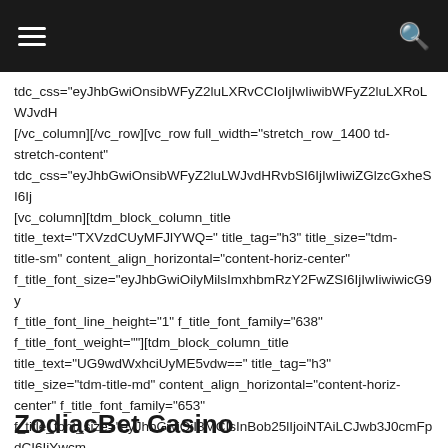☰  🔍
tdc_css="eyJhbGwiOnsibWFyZ2luLXRvCCIoIjIwIiwibWFyZ2luLXRoLWJvdH [/vc_column][/vc_row][vc_row full_width="stretch_row_1400 td-stretch-content" tdc_css="eyJhbGwiOnsibWFyZ2luLWJvdHRvbSI6IjIwIiwiZGlzcGxheSI6Ij [vc_column][tdm_block_column_title title_text="TXVzdCUyMFJlYWQ=" title_tag="h3" title_size="tdm-title-sm" content_align_horizontal="content-horiz-center" f_title_font_size="eyJhbGwiOilyMilsImxhbmRzY2FwZSI6IjIwIiwiwicG9y f_title_font_line_height="1" f_title_font_family="638" f_title_font_weight=""][tdm_block_column_title title_text="UG9wdWxhciUyME5vdw==" title_tag="h3" title_size="tdm-title-md" content_align_horizontal="content-horiz-center" f_title_font_family="653" f_title_font_size="eyJhbGwiOiI3MCIsInBob25lIjoiNTAiLCJwb3J0cmFpdCI6IjYwcm f_title_font_line_height="eyJhbGwiOiI4MCIsInBob25lIjoiNjAiLCJwb3J0cmFpdCI6IjcwJ f_title_font_weight="700"][/vc_column][/vc_row][vc_row full_width="stretch_row_1200 td-stretch-content"][vc_column]
ZodiacBet Casino